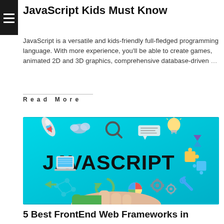JavaScript Kids Must Know
JavaScript is a versatile and kids-friendly full-fledged programming language. With more experience, you'll be able to create games, animated 2D and 3D graphics, comprehensive database-driven …
Read More
[Figure (photo): A hand holding up icons and the word JAVASCRIPT on a teal/cyan background, with illustrations of a rocket, laptop, gears, puzzle pieces, magnifying glass, lightbulb, and other tech icons drawn above it.]
5 Best FrontEnd Web Frameworks in